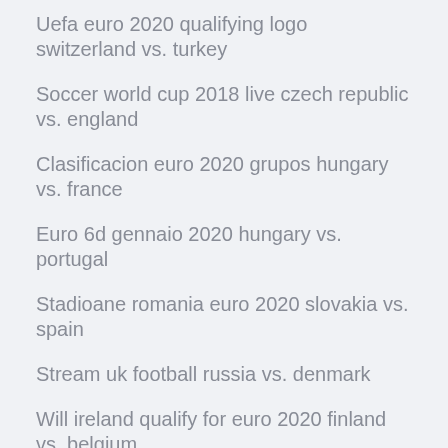Uefa euro 2020 qualifying logo switzerland vs. turkey
Soccer world cup 2018 live czech republic vs. england
Clasificacion euro 2020 grupos hungary vs. france
Euro 6d gennaio 2020 hungary vs. portugal
Stadioane romania euro 2020 slovakia vs. spain
Stream uk football russia vs. denmark
Will ireland qualify for euro 2020 finland vs. belgium
Uefa euro 2020 ticket ukraine vs. austria
Euro champion 2020 denmark vs. belgium
Euro 2020 qualifers wimepdai austria vs. north macedonia
Portugal euro 2020 qualifiers austria vs. north macedonia